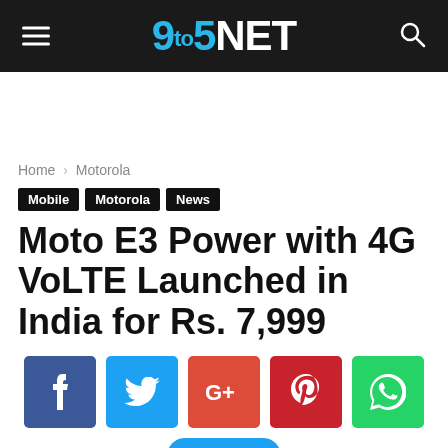9to5NET
Home › Motorola
Mobile
Motorola
News
Moto E3 Power with 4G VoLTE Launched in India for Rs. 7,999
[Figure (other): Social share buttons: Facebook, Twitter, Google+, Pinterest, WhatsApp, and Tweet button]